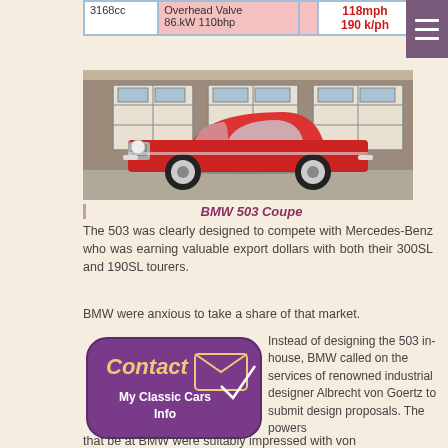| Engine | Power | Transmission | Speed |
| --- | --- | --- | --- |
| 3168cc | Overhead Valve
86.kW 110bhp | 4 speed manual | 118mph
190 k/ph |
[Figure (photo): Red BMW 503 Coupe parked in front of a building with white garage doors]
BMW 503 Coupe
The 503 was clearly designed to compete with Mercedes-Benz who was earning valuable export dollars with both their 300SL and 190SL tourers.
BMW were anxious to take a share of that market.
[Figure (illustration): Contact button for My Classic Cars Info with envelope/checkmark icon, purple rounded rectangle]
Instead of designing the 503 in-house, BMW called on the services of renowned industrial designer Albrecht von Goertz to submit design proposals. The powers that be at BMW were suitably impressed with von